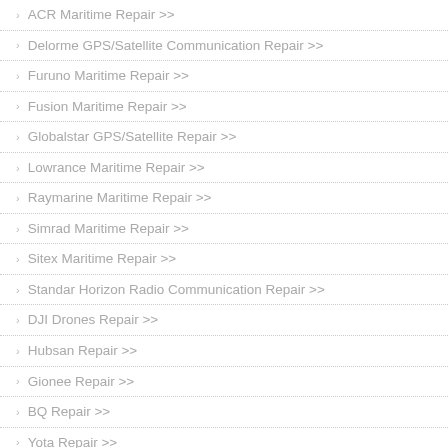ACR Maritime Repair >>
Delorme GPS/Satellite Communication Repair >>
Furuno Maritime Repair >>
Fusion Maritime Repair >>
Globalstar GPS/Satellite Repair >>
Lowrance Maritime Repair >>
Raymarine Maritime Repair >>
Simrad Maritime Repair >>
Sitex Maritime Repair >>
Standar Horizon Radio Communication Repair >>
DJI Drones Repair >>
Hubsan Repair >>
Gionee Repair >>
BQ Repair >>
Yota Repair >>
Yota Repair >>